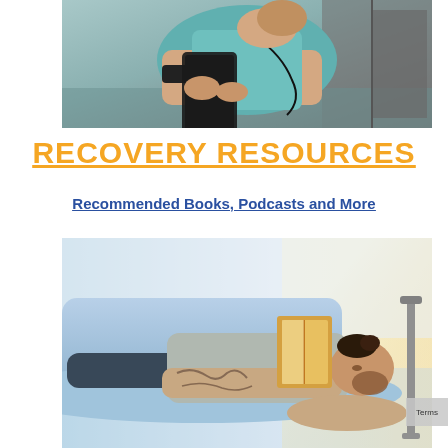[Figure (photo): Woman in teal tank top sitting outdoors, holding a smartphone with earphones around her neck, wearing an arm band, athletic/fitness setting]
RECOVERY RESOURCES
Recommended Books, Podcasts and More
[Figure (photo): Tattooed man with beard lying on a light blue couch/sofa reading a book, relaxed recovery setting]